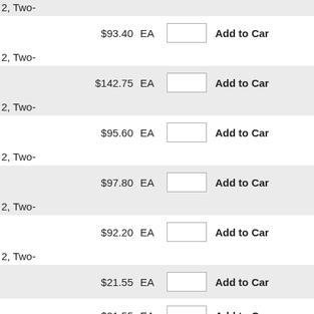2, Two-
$93.40   EA   [qty]   Add to Cart
2, Two-
$142.75   EA   [qty]   Add to Cart
2, Two-
$95.60   EA   [qty]   Add to Cart
2, Two-
$97.80   EA   [qty]   Add to Cart
2, Two-
$92.20   EA   [qty]   Add to Cart
2, Two-
$21.55   EA   [qty]   Add to Cart
$21.55   EA   [qty]   Add to Cart